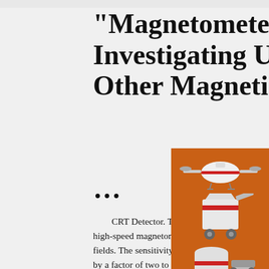"Magnetometers For Investigating UFO's and Other Magnetic ...
CRT Detector. The inertialess cathode-ray instrument shown in Fig. 4 is an extremely sensitive high-speed magnetometer. Professional CRT magnetometers can measure extremely weak fields. The sensitivity of these CRT detectors exceeds that of both nuclear and rubidium-vapor magnetometers by a factor of two to four.
[Figure (illustration): Orange advertisement box with mining/industrial machinery images, 'Enjoy 3% discount', 'Click to Chat' in yellow banners, 'Enquiry' button, and contact email limingjlmofen@sina.com]
Navy MH-60R Seahawks To Get